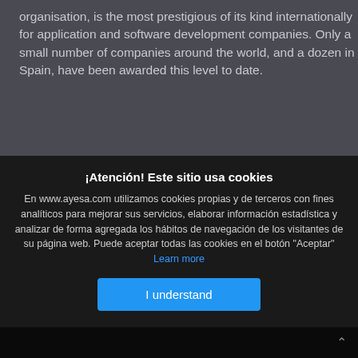organisation, is the most prestigious of its kind internationally for application and software development companies. Only a small number of companies around the world, and a dozen in Spain, have been awarded this level to date.
¡Atención! Este sitio usa cookies
En www.ayesa.com utilizamos cookies propias y de terceros con fines analíticos para mejorar sus servicios, elaborar información estadística y analizar de forma agregada los hábitos de navegación de los visitantes de su página web. Puede aceptar todas las cookies en el botón "Aceptar" Learn more
I understand